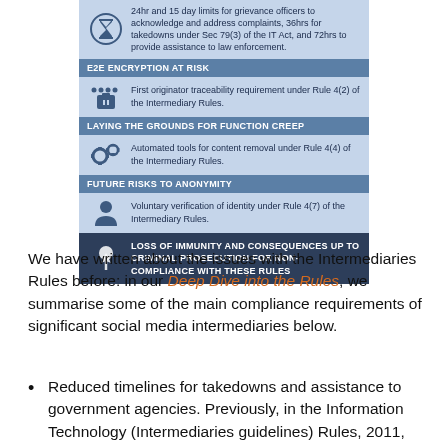[Figure (infographic): Infographic showing issues with India's Intermediary Rules. Sections: time limits for grievance officers (24hr/15 day/36hr/72hr), E2E Encryption At Risk (first originator traceability under Rule 4(2)), Laying the Grounds for Function Creep (automated tools under Rule 4(4)), Future Risks to Anonymity (voluntary identity verification under Rule 4(7)), and Loss of Immunity/Criminal Prosecution for Non-Compliance.]
We have written about the issues with the Intermediaries Rules before: in our Deep Dive into the Rules, we summarise some of the main compliance requirements of significant social media intermediaries below.
Reduced timelines for takedowns and assistance to government agencies. Previously, in the Information Technology (Intermediaries guidelines) Rules, 2011, the